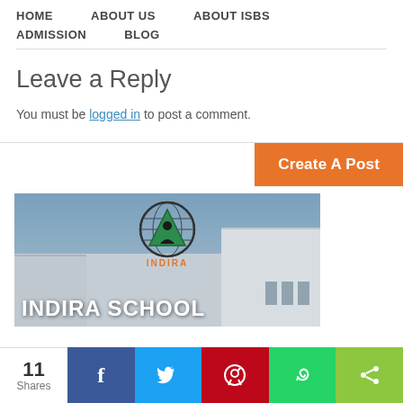HOME   ABOUT US   ABOUT ISBS   ADMISSION   BLOG
Leave a Reply
You must be logged in to post a comment.
Create A Post
[Figure (photo): Indira School building exterior with Indira (Shree Chanakya Education Society) logo and text 'INDIRA SCHOOL' overlaid at bottom]
11 Shares | Facebook | Twitter | Pinterest | WhatsApp | Share